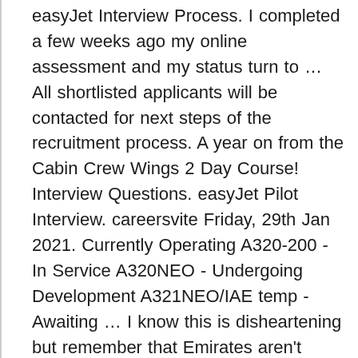easyJet Interview Process. I completed a few weeks ago my online assessment and my status turn to … All shortlisted applicants will be contacted for next steps of the recruitment process. A year on from the Cabin Crew Wings 2 Day Course! Interview Questions. easyJet Pilot Interview. careersvite Friday, 29th Jan 2021. Currently Operating A320-200 - In Service A320NEO - Undergoing Development A321NEO/IAE temp - Awaiting … I know this is disheartening but remember that Emirates aren't recruiting anyone at the moment so just make sure you keep working to get great experiences and skills that will help you in the future. I applied to easyjet and so far I was able to be successfull. Related Articles. The last piece of communication I had was after completing the ability test and they said "Good news, you have … February 14, 2020. Volume recruitment comes with challenges, managing your